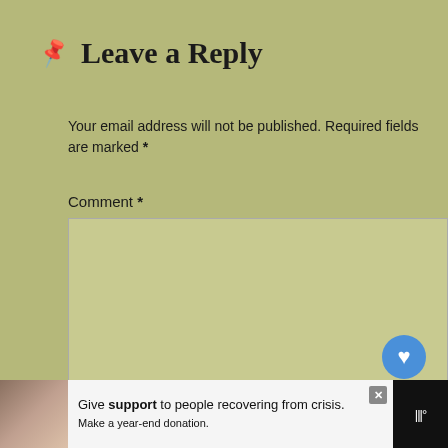📌 Leave a Reply
Your email address will not be published. Required fields are marked *
Comment *
[Figure (screenshot): Empty comment text area input box]
[Figure (infographic): Social widget with heart/like button showing count 1 and share button]
[Figure (infographic): What's Next widget showing American Pelecinid]
Name *
[Figure (screenshot): Empty name text input box]
Email *
[Figure (infographic): Advertisement bar: Give support to people recovering from crisis. Make a year-end donation.]